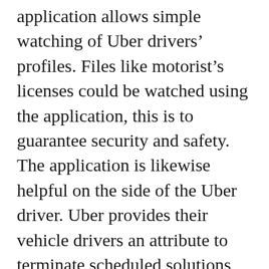application allows simple watching of Uber drivers' profiles. Files like motorist's licenses could be watched using the application, this is to guarantee security and safety. The application is likewise helpful on the side of the Uber driver. Uber provides their vehicle drivers an attribute to terminate scheduled solutions because of emergency situations as well as other reasons. If something like this happens, the service will certainly be transferred to other available Uber vehicle drivers who are near. Prior to approving to own for passengers, Uber vehicle drivers